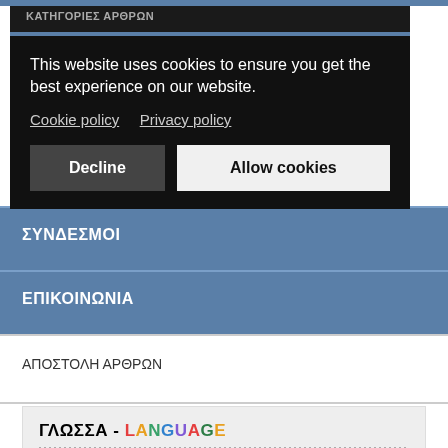[Figure (screenshot): Cookie consent overlay on a Greek website showing cookie policy notice with Decline and Allow cookies buttons, navigation menu items in Greek (ΚΑΤΗΓΟΡΙΕΣ ΑΡΘΡΩΝ, ΕΚΠΑΙΔΕΥΣΗ), blue navigation sections (ΣΥΝΔΕΣΜΟΙ, ΕΠΙΚΟΙΝΩΝΙΑ), white section (ΑΠΟΣΤΟΛΗ ΑΡΘΡΩΝ), and a language selector (ΓΛΩΣΣΑ - LANGUAGE) at the bottom.]